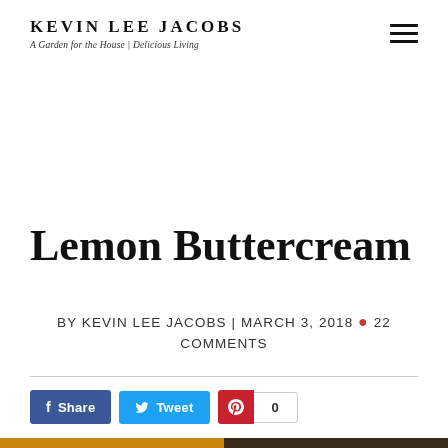KEVIN LEE JACOBS — A Garden for the House | Delicious Living
Lemon Buttercream
BY KEVIN LEE JACOBS | MARCH 3, 2018 • 22 COMMENTS